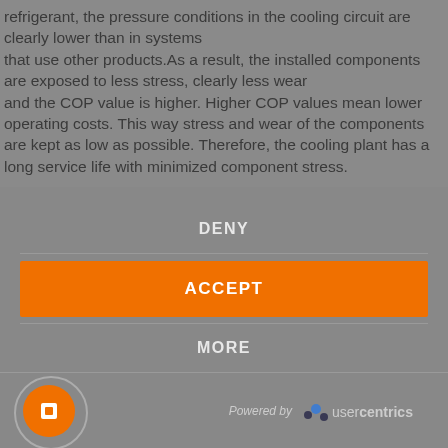refrigerant, the pressure conditions in the cooling circuit are clearly lower than in systems that use other products.As a result, the installed components are exposed to less stress, clearly less wear and the COP value is higher. Higher COP values mean lower operating costs. This way stress and wear of the components are kept as low as possible. Therefore, the cooling plant has a long service life with minimized component stress.
[Figure (screenshot): Cookie consent modal overlay with DENY, ACCEPT (orange button), and MORE options, plus a Usercentrics powered-by footer with orange badge icon]